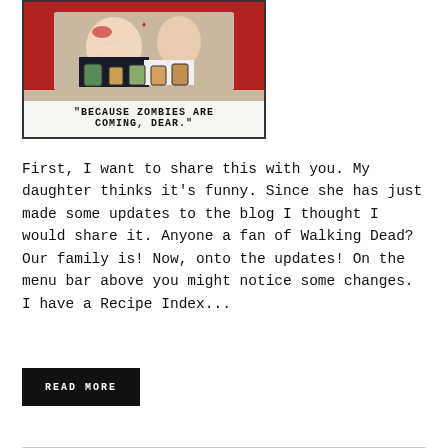[Figure (illustration): Vintage-style illustration of a woman canning food with jars on a table, with caption text reading "BECAUSE ZOMBIES ARE COMING, DEAR."]
First, I want to share this with you. My daughter thinks it's funny. Since she has just made some updates to the blog I thought I would share it. Anyone a fan of Walking Dead? Our family is! Now, onto the updates! On the menu bar above you might notice some changes. I have a Recipe Index...
READ MORE